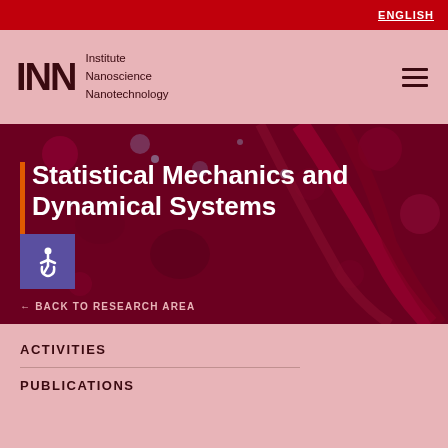ENGLISH
[Figure (logo): INN Institute Nanoscience Nanotechnology logo with hamburger menu icon]
[Figure (photo): Dark red/maroon background with glowing bokeh lights and abstract nano-structures. Contains title 'Statistical Mechanics and Dynamical Systems' with orange vertical bar accent, accessibility icon in purple box, and back navigation link '← BACK TO RESEARCH AREA']
Statistical Mechanics and Dynamical Systems
← BACK TO RESEARCH AREA
ACTIVITIES
PUBLICATIONS